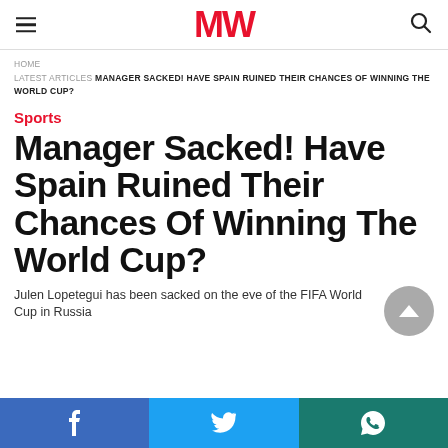MW
HOME LATEST ARTICLES MANAGER SACKED! HAVE SPAIN RUINED THEIR CHANCES OF WINNING THE WORLD CUP?
Sports
Manager Sacked! Have Spain Ruined Their Chances Of Winning The World Cup?
Julen Lopetegui has been sacked on the eve of the FIFA World Cup in Russia